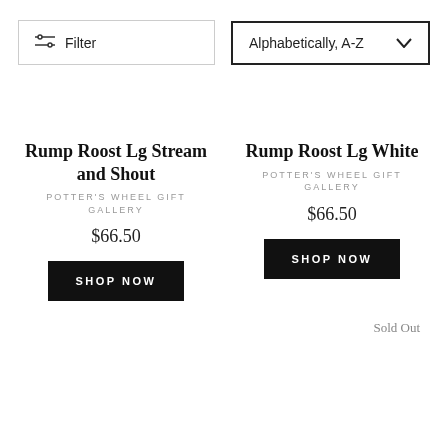Filter
Alphabetically, A-Z
Rump Roost Lg Stream and Shout
POTTER'S WHEEL GIFT GALLERY
$66.50
SHOP NOW
Rump Roost Lg White
POTTER'S WHEEL GIFT GALLERY
$66.50
SHOP NOW
Sold Out